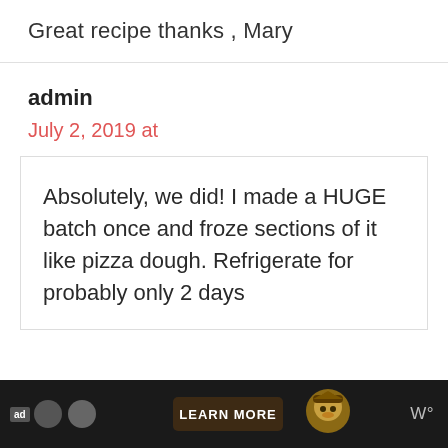Great recipe thanks , Mary
admin
July 2, 2019 at
Absolutely, we did! I made a HUGE batch once and froze sections of it like pizza dough. Refrigerate for probably only 2 days
[Figure (screenshot): Ad banner at bottom: dark background with 'ad' badge, icons, LEARN MORE button, Smokey Bear image, and 'W°' text on right]